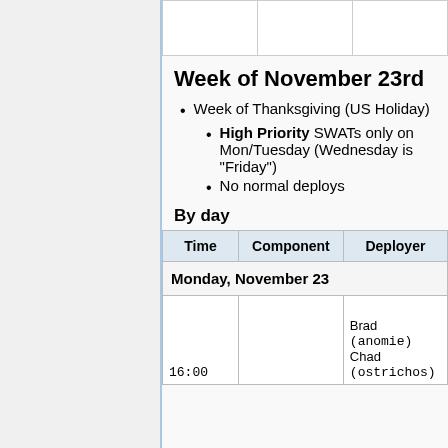|  |  |  |
| --- | --- | --- |
|  |  |  |
Week of November 23rd
Week of Thanksgiving (US Holiday)
High Priority SWATs only on Mon/Tuesday (Wednesday is "Friday")
No normal deploys
By day
| Time | Component | Deployer |
| --- | --- | --- |
| Monday, November 23 |  |  |
|  |  | Brad (anomie)
Chad (ostrichos) |
| 16:00 |  |  |